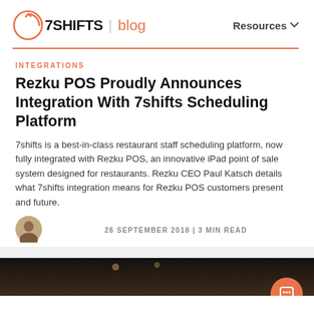7SHIFTS | blog   Resources
INTEGRATIONS
Rezku POS Proudly Announces Integration With 7shifts Scheduling Platform
7shifts is a best-in-class restaurant staff scheduling platform, now fully integrated with Rezku POS, an innovative iPad point of sale system designed for restaurants. Rezku CEO Paul Katsch details what 7shifts integration means for Rezku POS customers present and future.
26 SEPTEMBER 2018 | 3 MIN READ
[Figure (photo): Bottom portion of a dark restaurant interior photo, partially visible]